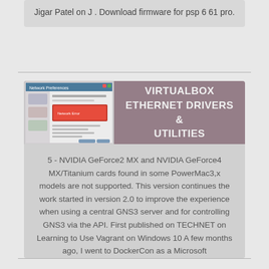Jigar Patel on J . Download firmware for psp 6 61 pro.
VIRTUALBOX ETHERNET DRIVERS & UTILITIES
[Figure (screenshot): Screenshot of a VirtualBox network settings or driver utility window]
5 - NVIDIA GeForce2 MX and NVIDIA GeForce4 MX/Titanium cards found in some PowerMac3,x models are not supported. This version continues the work started in version 2.0 to improve the experience when using a central GNS3 server and for controlling GNS3 via the API. First published on TECHNET on Learning to Use Vagrant on Windows 10 A few months ago, I went to DockerCon as a Microsoft representative.